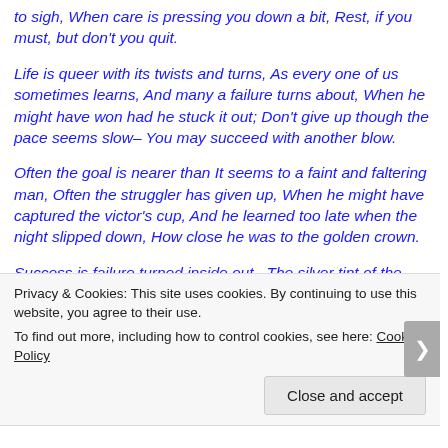to sigh, When care is pressing you down a bit, Rest, if you must, but don't you quit.
Life is queer with its twists and turns, As every one of us sometimes learns, And many a failure turns about, When he might have won had he stuck it out; Don't give up though the pace seems slow– You may succeed with another blow.
Often the goal is nearer than It seems to a faint and faltering man, Often the struggler has given up, When he might have captured the victor's cup, And he learned too late when the night slipped down, How close he was to the golden crown.
Success is failure turned inside out– The silver tint of the clouds of doubt, And you never can tell how close you are, It
Privacy & Cookies: This site uses cookies. By continuing to use this website, you agree to their use.
To find out more, including how to control cookies, see here: Cookie Policy